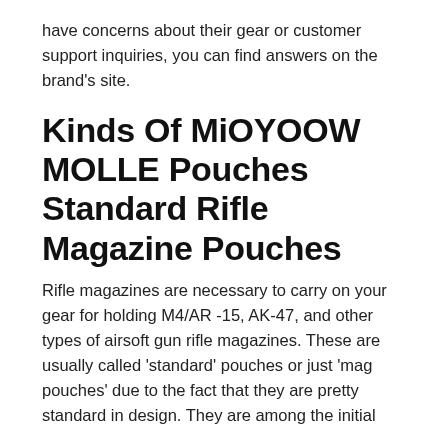have concerns about their gear or customer support inquiries, you can find answers on the brand's site.
Kinds Of MiOYOOW MOLLE Pouches Standard Rifle Magazine Pouches
Rifle magazines are necessary to carry on your gear for holding M4/AR -15, AK-47, and other types of airsoft gun rifle magazines. These are usually called 'standard' pouches or just 'mag pouches' due to the fact that they are pretty standard in design. They are among the initial